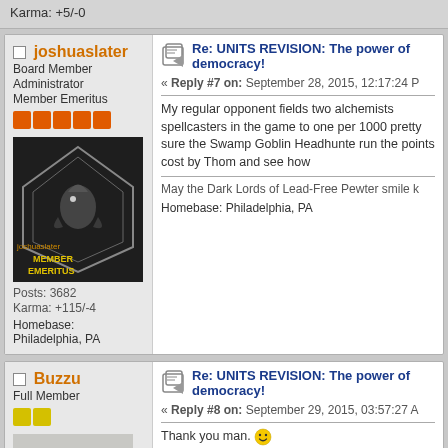Karma: +5/-0
joshuaslater
Board Member
Administrator
Member Emeritus
[Figure (photo): Avatar image for joshuaslater with text MEMBER EMERITUS on dark background]
Posts: 3682
Karma: +115/-4
Homebase: Philadelphia, PA
Re: UNITS REVISION: The power of democracy!
« Reply #7 on: September 28, 2015, 12:17:24 P
My regular opponent fields two alchemists spellcasters in the game to one per 1000 pretty sure the Swamp Goblin Headhunte run the points cost by Thom and see how
May the Dark Lords of Lead-Free Pewter smile k
Homebase: Philadelphia, PA
Buzzu
Full Member
[Figure (photo): Avatar image of green goblin miniature figure]
Re: UNITS REVISION: The power of democracy!
« Reply #8 on: September 29, 2015, 03:57:27 A
Thank you man.